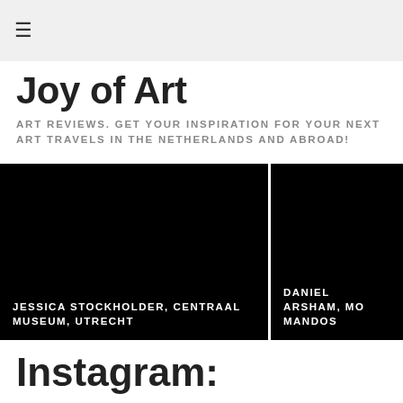≡
Joy of Art
ART REVIEWS. GET YOUR INSPIRATION FOR YOUR NEXT ART TRAVELS IN THE NETHERLANDS AND ABROAD!
[Figure (photo): Black image card with label: JESSICA STOCKHOLDER, CENTRAAL MUSEUM, UTRECHT]
[Figure (photo): Black image card with label: DANIEL ARSHAM, MO MANDOS]
Instagram: